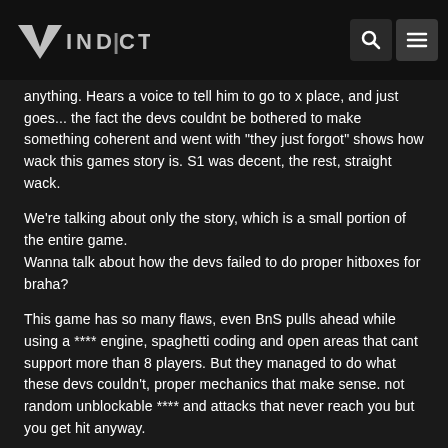Vindictus
anything. Hears a voice to tell him to go to x place, and just goes... the fact the devs couldnt be bothered to make something coherent and went with "they just forgot" shows how wack this games story is. S1 was decent, the rest, straight wack.
We're talking about only the story, which is a small portion of the entire game.
Wanna talk about how the devs failed to do proper hitboxes for braha?
This game has so many flaws, even BnS pulls ahead while using a **** engine, spaghetti coding and open areas that cant support more than 8 players. But they managed to do what these devs couldn't, proper mechanics that make sense. not random unblockable **** and attacks that never reach you but you get hit anyway.
I am not really going to discuss this any further, I have been replying to nexon shills for the past 2 days pretending the game is ok with 400 players for both regions. During these past 2